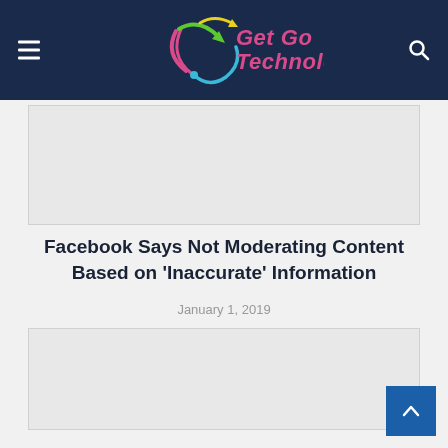Get Go Technology
[Figure (other): Advertisement placeholder banner top]
Facebook Says Not Moderating Content Based on 'Inaccurate' Information
January 1, 2019
[Figure (other): Advertisement placeholder banner bottom]